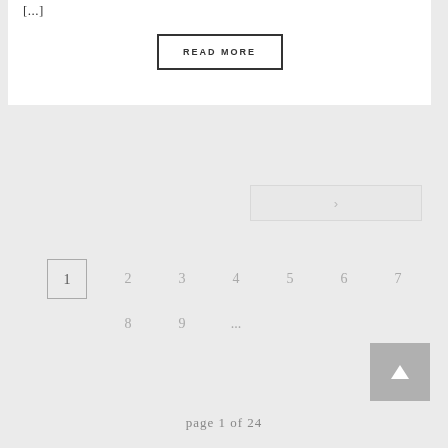[...]
READ MORE
>
1  2  3  4  5  6  7
8  9  ...
page 1 of 24